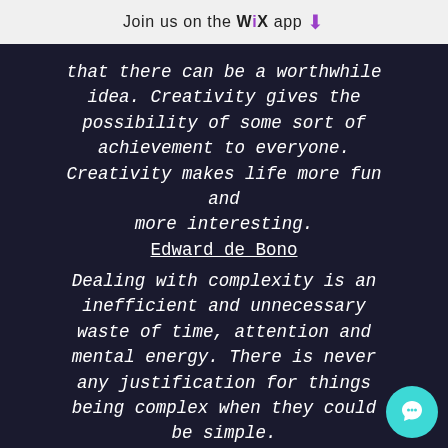Join us on the WiX app ⬇
that there can be a worthwhile idea. Creativity gives the possibility of some sort of achievement to everyone. Creativity makes life more fun and more interesting.
Edward de Bono
Dealing with complexity is an inefficient and unnecessary waste of time, attention and mental energy. There is never any justification for things being complex when they could be simple.
Edward de Bono